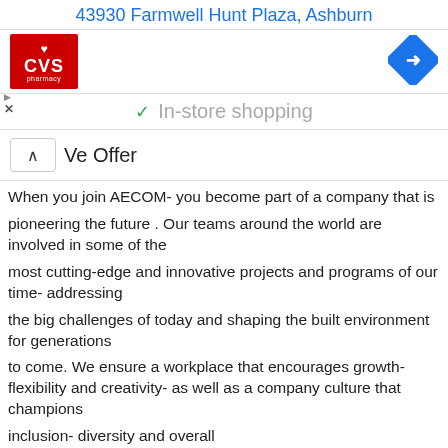43930 Farmwell Hunt Plaza, Ashburn
[Figure (logo): CVS Pharmacy red logo with heart symbol]
[Figure (other): Blue diamond-shaped navigation/directions icon with right-arrow]
In-store shopping
We Offer
When you join AECOM- you become part of a company that is pioneering the future . Our teams around the world are involved in some of the most cutting-edge and innovative projects and programs of our time- addressing the big challenges of today and shaping the built environment for generations to come. We ensure a workplace that encourages growth- flexibility and creativity- as well as a company culture that champions inclusion- diversity and overall employee well-being through programs supported by company leadership. Our core values define who we are- how we act and what we aspire to- which comes down to not only delivering a better world – but working to [make amazing happen] in each